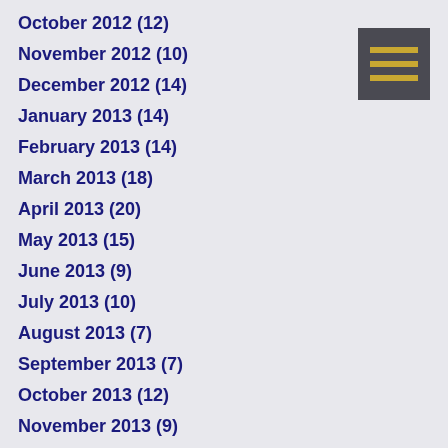October 2012 (12)
November 2012 (10)
December 2012 (14)
January 2013 (14)
February 2013 (14)
March 2013 (18)
April 2013 (20)
May 2013 (15)
June 2013 (9)
July 2013 (10)
August 2013 (7)
September 2013 (7)
October 2013 (12)
November 2013 (9)
December 2013 (5)
January 2014 (4)
February 2014 (4)
March 2014 (4)